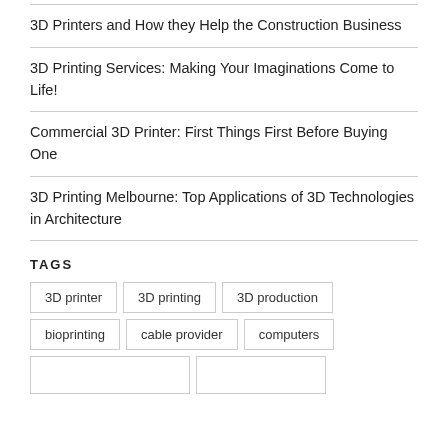3D Printers and How they Help the Construction Business
3D Printing Services: Making Your Imaginations Come to Life!
Commercial 3D Printer: First Things First Before Buying One
3D Printing Melbourne: Top Applications of 3D Technologies in Architecture
TAGS
3D printer
3D printing
3D production
bioprinting
cable provider
computers